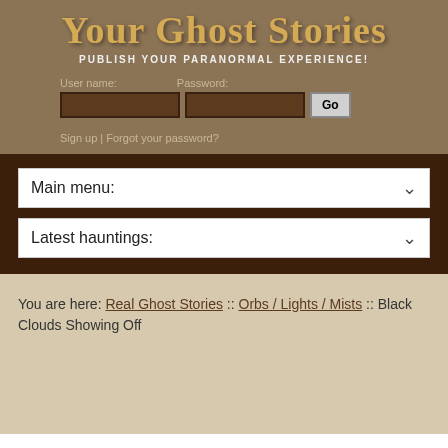Your Ghost Stories
PUBLISH YOUR PARANORMAL EXPERIENCE!
User name: Password:
Sign up | Forgot your password?
Main menu:
Latest hauntings:
You are here: Real Ghost Stories :: Orbs / Lights / Mists :: Black Clouds Showing Off